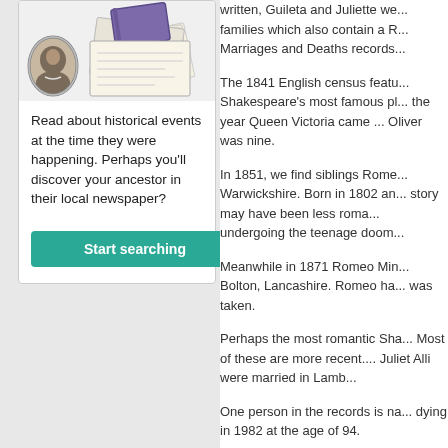[Figure (photo): A card with a vintage portrait photo on the left and a pile of old letters/papers with a purple book on the right, against a white background with rounded border.]
Read about historical events at the time they were happening. Perhaps you'll discover your ancestor in their local newspaper?
Start searching
written, Guileta and Juliette we... families which also contain a R... Marriages and Deaths records...
The 1841 English census featu... Shakespeare's most famous pl... the year Queen Victoria came ... Oliver was nine.
In 1851, we find siblings Rome... Warwickshire. Born in 1802 an... story may have been less roma... undergoing the teenage doom...
Meanwhile in 1871 Romeo Min... Bolton, Lancashire. Romeo ha... was taken.
Perhaps the most romantic Sha... Most of these are more recent.... Juliet Alli were married in Lamb...
One person in the records is na... dying in 1982 at the age of 94.
Desdemona and Othello are qu...